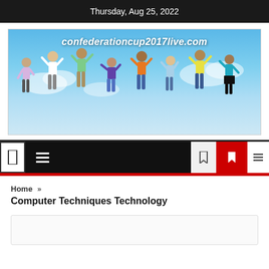Thursday, Aug 25, 2022
[Figure (photo): Website banner for confederationcup2017live.com showing group of people jumping against blue sky background]
[Figure (screenshot): Website navigation bar with hamburger menu icon on black background, a bookmark icon, a red button with icon, and a search icon]
Home ›
Computer Techniques Technology